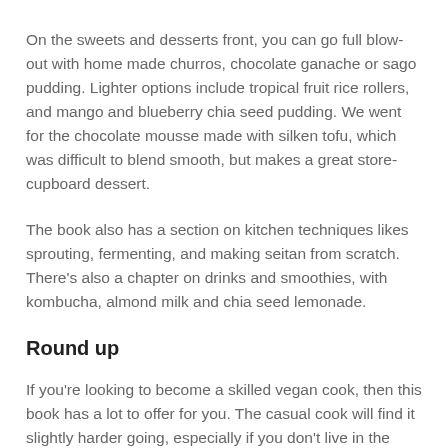On the sweets and desserts front, you can go full blow-out with home made churros, chocolate ganache or sago pudding. Lighter options include tropical fruit rice rollers, and mango and blueberry chia seed pudding. We went for the chocolate mousse made with silken tofu, which was difficult to blend smooth, but makes a great store-cupboard dessert.
The book also has a section on kitchen techniques likes sprouting, fermenting, and making seitan from scratch. There's also a chapter on drinks and smoothies, with kombucha, almond milk and chia seed lemonade.
Round up
If you're looking to become a skilled vegan cook, then this book has a lot to offer for you. The casual cook will find it slightly harder going, especially if you don't live in the capital. If you're looking to entertain though, or treat your vegan friends, they'll certainly love homemade gyoza or steamed dumplings, followed by churros with chocolate!